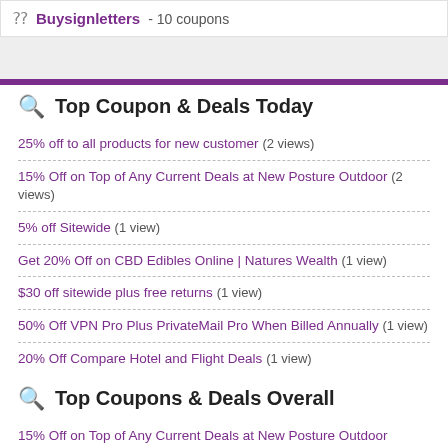Buysignletters - 10 coupons
Top Coupon & Deals Today
25% off to all products for new customer (2 views)
15% Off on Top of Any Current Deals at New Posture Outdoor (2 views)
5% off Sitewide (1 view)
Get 20% Off on CBD Edibles Online | Natures Wealth (1 view)
$30 off sitewide plus free returns (1 view)
50% Off VPN Pro Plus PrivateMail Pro When Billed Annually (1 view)
20% Off Compare Hotel and Flight Deals (1 view)
Top Coupons & Deals Overall
15% Off on Top of Any Current Deals at New Posture Outdoor (258013 views)